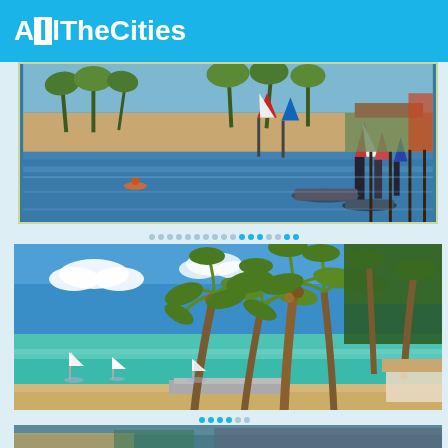AllTheCities
[Figure (photo): Aerial or elevated view of a harbor/marina with boats, sailboats, blue water, sandy beach with palm trees, and waterfront structures]
[Figure (photo): Tropical beach scene with tall palm trees in foreground, turquoise Caribbean water, white sandy beach, and sailboats anchored offshore under blue sky with white clouds]
[Figure (photo): Partial view of another tropical scene, partially cut off at bottom of page]